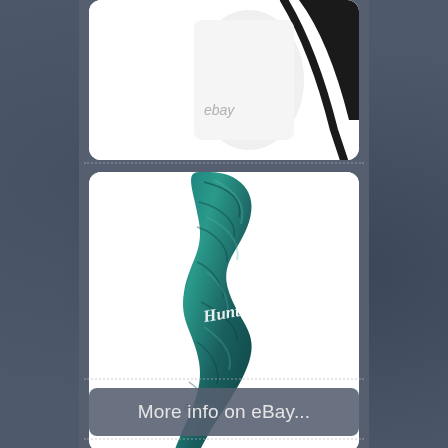[Figure (photo): Top portion of an archery bow with black limbs and white riser, eBay watermark visible]
[Figure (photo): Close-up of a teal/turquoise marbled archery bow riser with 'Hunter' script logo written in white, eBay watermark visible]
More info on eBay...